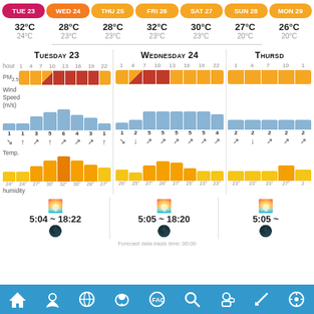[Figure (infographic): 7-day weather forecast app screenshot showing day pills (TUE 23 through MON 29), temperature highs and lows, and detailed hourly forecasts for Tuesday 23, Wednesday 24, and Thursday (partial) including PM2.5, wind speed/direction, temperature chart, humidity, sunrise/sunset times, and moon phase]
Navigation bar with home, location, globe, mask, FAQ, search, user, link, settings icons